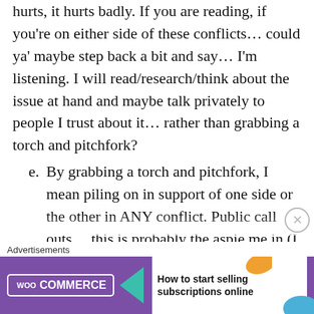hurts, it hurts badly. If you are reading, if you're on either side of these conflicts… could ya' maybe step back a bit and say… I'm listening. I will read/research/think about the issue at hand and maybe talk privately to people I trust about it… rather than grabbing a torch and pitchfork?
e. By grabbing a torch and pitchfork, I mean piling on in support of one side or the other in ANY conflict. Public call outs… this is probably the aspie me in (I really loathe being accused of something in public. Which might clue you in to how strongly I feel about this topic, to step up and say
Advertisements
[Figure (other): WooCommerce advertisement banner: purple background with WooCommerce logo, green arrow pointing left, text 'How to start selling subscriptions online', orange and blue decorative shapes]